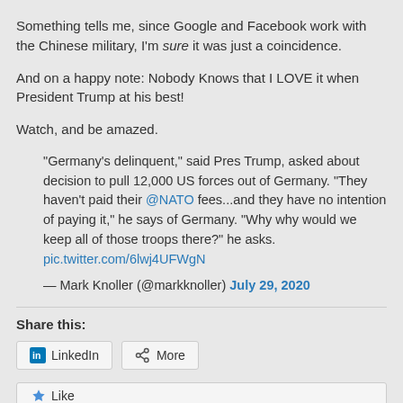Something tells me, since Google and Facebook work with the Chinese military, I'm sure it was just a coincidence.
And on a happy note: Nobody Knows that I LOVE it when President Trump at his best!
Watch, and be amazed.
"Germany's delinquent," said Pres Trump, asked about decision to pull 12,000 US forces out of Germany. "They haven't paid their @NATO fees...and they have no intention of paying it," he says of Germany. "Why why would we keep all of those troops there?" he asks. pic.twitter.com/6lwj4UFWgN
— Mark Knoller (@markknoller) July 29, 2020
Share this:
LinkedIn   More
Like
Be the first to like this.